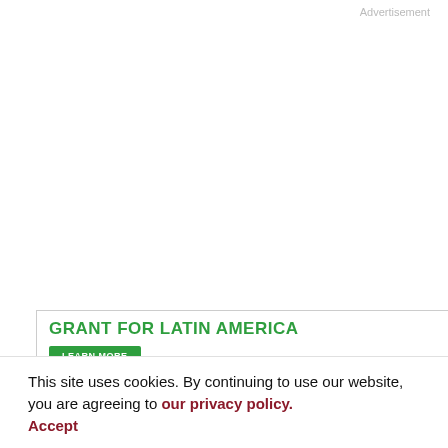Advertisement
[Figure (illustration): AACR advertisement banner showing 'GRANT FOR LATIN AMERICA' text in green, a green 'LEARN MORE' button, and the AACR (American Association for Cancer Research) logo on a green gradient background with code 22060035]
Email Alerts
Online First Alert
eTOC Alert
This site uses cookies. By continuing to use our website, you are agreeing to our privacy policy. Accept